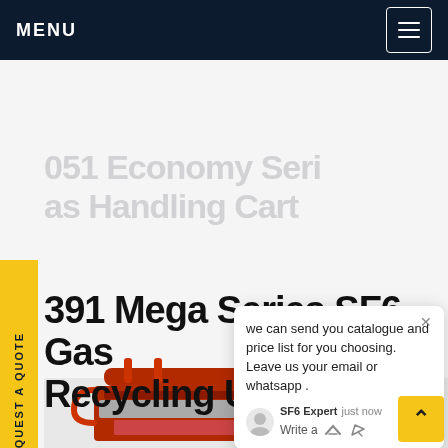MENU
REQUEST A QUOTE
[Figure (screenshot): Chat popup with SF6 Expert message: we can send you catalogue and price list for you choosing. Leave us your email or whatsapp. SF6 Expert, just now.]
051 Economy Series SF6 Gas Handling Cart
391 Mega Series SF6 Gas Recycling Unit
[Figure (photo): Partial view of red industrial SF6 gas recycling machine.]